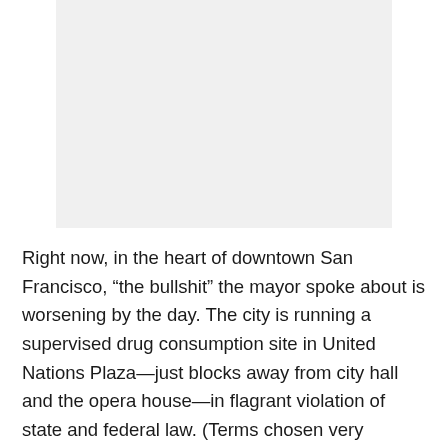[Figure (photo): A light gray rectangular image placeholder occupying the upper portion of the page.]
Right now, in the heart of downtown San Francisco, “the bullshit” the mayor spoke about is worsening by the day. The city is running a supervised drug consumption site in United Nations Plaza—just blocks away from city hall and the opera house—in flagrant violation of state and federal law. (Terms chosen very deliberately, and